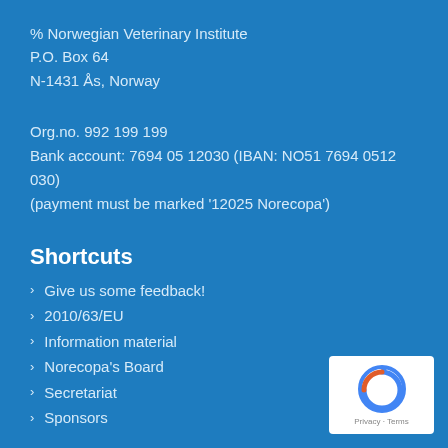% Norwegian Veterinary Institute
P.O. Box 64
N-1431 Ås, Norway
Org.no. 992 199 199
Bank account: 7694 05 12030 (IBAN: NO51 7694 0512 030)
(payment must be marked '12025 Norecopa')
Shortcuts
Give us some feedback!
2010/63/EU
Information material
Norecopa's Board
Secretariat
Sponsors